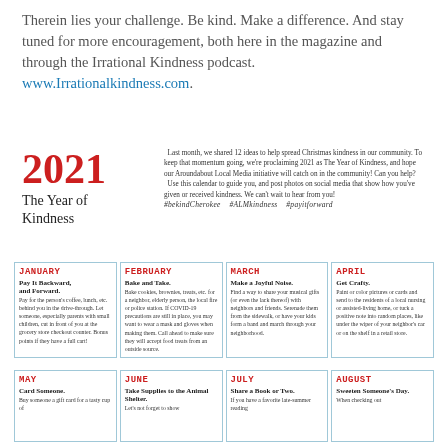Therein lies your challenge. Be kind. Make a difference. And stay tuned for more encouragement, both here in the magazine and through the Irrational Kindness podcast. www.Irrationalkindness.com.
2021
The Year of Kindness
Last month, we shared 12 ideas to help spread Christmas kindness in our community. To keep that momentum going, we're proclaiming 2021 as The Year of Kindness, and hope our Aroundabout Local Media initiative will catch on in the community! Can you help?
  Use this calendar to guide you, and post photos on social media that show how you've given or received kindness. We can't wait to hear from you!
#bekindCherokee   #ALMkindness   #payitforward
| JANUARY | FEBRUARY | MARCH | APRIL |
| --- | --- | --- | --- |
| Pay It Backward, and Forward.
  Pay for the person's coffee, lunch, etc. behind you in the drive-through. Let someone, especially parents with small children, cut in front of you at the grocery store checkout counter. Bonus points if they have a full cart! | Bake and Take.
  Bake cookies, brownies, treats, etc. for a neighbor, elderly person, the local fire or police station. If COVID-19 precautions are still in place, you may want to wear a mask and gloves when making them. Call ahead to make sure they will accept food treats from an outside source. | Make a Joyful Noise.
  Find a way to share your musical gifts (or even the lack thereof) with neighbors and friends. Serenade them from the sidewalk, or have your kids form a band and march through your neighborhood. | Get Crafty.
  Paint or color pictures or cards and send to the residents of a local nursing or assisted-living home, or tuck a positive note into random places, like under the wiper of your neighbor's car or on the shelf in a retail store. |
| MAY | JUNE | JULY | AUGUST |
| --- | --- | --- | --- |
| Card Someone.
  Buy someone a gift card for a tasty cup of... | Take Supplies to the Animal Shelter.
  Let's not forget to show... | Share a Book or Two.
  If you have a favorite late-summer reading... | Sweeten Someone's Day.
  When checking out... |